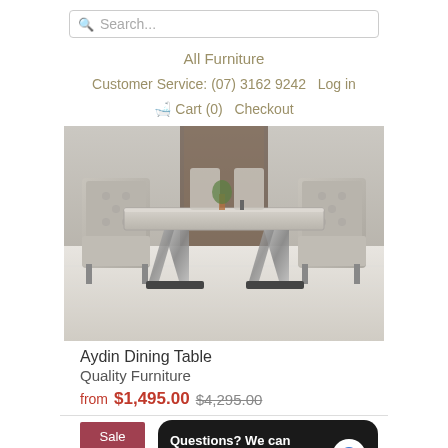Search...
All Furniture
Customer Service: (07) 3162 9242    Log in
Cart (0)   Checkout
[Figure (photo): Luxury marble-top dining table with silver V-shaped chrome legs, surrounded by grey tufted high-back chairs on a marble floor]
Aydin Dining Table
Quality Furniture
from $1,495.00 $4,295.00
Sale
Questions? We can help. Chat with us now.